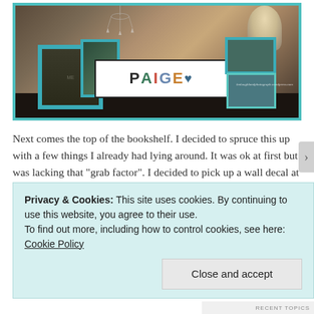[Figure (photo): A photo of a bookshelf top with multiple picture frames in teal/turquoise borders. The centerpiece is a framed sign spelling 'PAIGE' with a heart symbol in colorful letters. There is a lamp on the right side and a chandelier visible at the top. The shelf is dark wood. A watermark reads 'kmlaughlandphotograph.wordpress.com'.]
Next comes the top of the bookshelf. I decided to spruce this up with a few things I already had lying around. It was ok at first but was lacking that "grab factor". I decided to pick up a wall decal at Jo-Anne Fabrics last weekend to finish it off. The Decal was only $9.99 normally – A great price. I got it for $6.36 with a 40% off Coupon.
Privacy & Cookies: This site uses cookies. By continuing to use this website, you agree to their use.
To find out more, including how to control cookies, see here: Cookie Policy
Close and accept